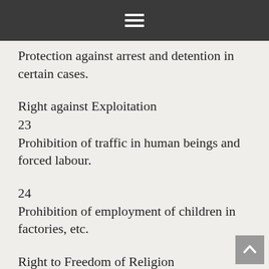≡
Protection against arrest and detention in certain cases.
Right against Exploitation
23
Prohibition of traffic in human beings and forced labour.
24
Prohibition of employment of children in factories, etc.
Right to Freedom of Religion
25
Freedom of conscience and free profession, practice and propagation of